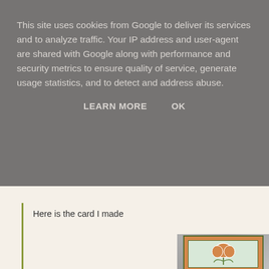This site uses cookies from Google to deliver its services and to analyze traffic. Your IP address and user-agent are shared with Google along with performance and security metrics to ensure quality of service, generate usage statistics, and to detect and address abuse.
LEARN MORE    OK
Here is the card I made
[Figure (photo): A handmade greeting card featuring an orange tulip flower with green leaves on a light green card, layered over an orange background, with a white bow, photographed on a grey surface.]